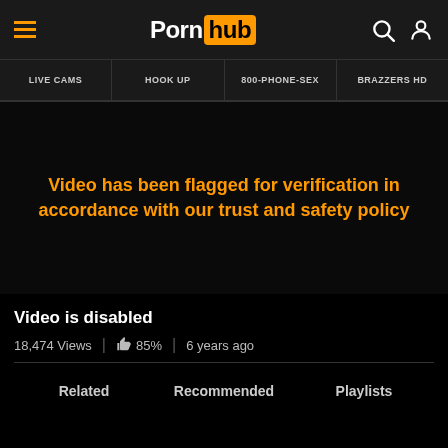Pornhub
LIVE CAMS
HOOK UP
800-PHONE-SEX
BRAZZERS HD
Video has been flagged for verification in accordance with our trust and safety policy
Video is disabled
18,474 Views | 85% | 6 years ago
Related   Recommended   Playlists